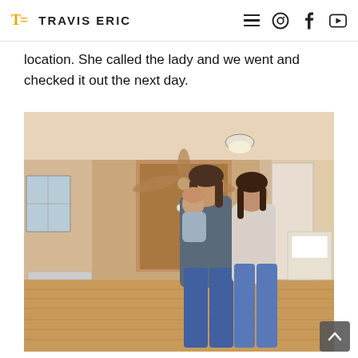TE TRAVIS ERIC
location. She called the lady and we went and checked it out the next day.
[Figure (photo): A couple and their young child standing inside an empty house with hardwood floors, a ceiling fan, and warm-toned walls. The man is holding the child.]